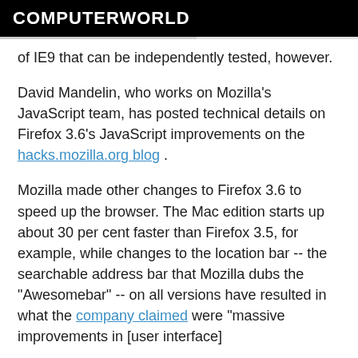COMPUTERWORLD
of IE9 that can be independently tested, however.
David Mandelin, who works on Mozilla's JavaScript team, has posted technical details on Firefox 3.6's JavaScript improvements on the hacks.mozilla.org blog .
Mozilla made other changes to Firefox 3.6 to speed up the browser. The Mac edition starts up about 30 per cent faster than Firefox 3.5, for example, while changes to the location bar -- the searchable address bar that Mozilla dubs the "Awesomebar" -- on all versions have resulted in what the company claimed were "massive improvements in [user interface]